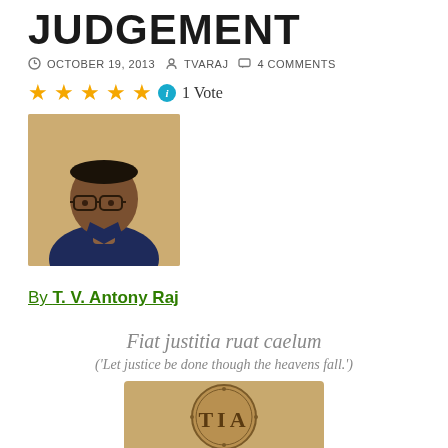JUDGEMENT
OCTOBER 19, 2013   TVARAJ   4 COMMENTS
1 Vote
[Figure (photo): Portrait photo of T. V. Antony Raj, an older man wearing glasses and a dark blue shirt]
By T. V. Antony Raj
Fiat justitia ruat caelum
('Let justice be done though the heavens fall.')
[Figure (photo): Partial view of a circular seal or emblem showing the letters TIA]